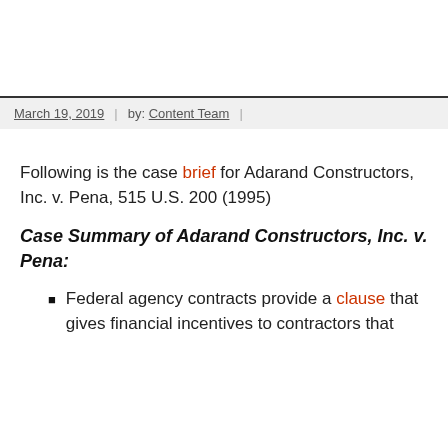March 19, 2019 | by: Content Team |
Following is the case brief for Adarand Constructors, Inc. v. Pena, 515 U.S. 200 (1995)
Case Summary of Adarand Constructors, Inc. v. Pena:
Federal agency contracts provide a clause that gives financial incentives to contractors that